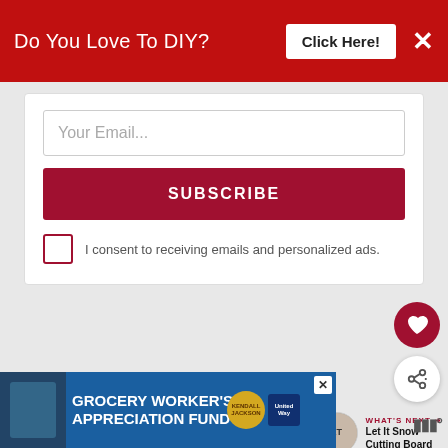Do You Love To DIY? Click Here!
[Figure (screenshot): Email subscription form with input field, Subscribe button, and consent checkbox]
I consent to receiving emails and personalized ads.
[Figure (infographic): Floating heart favorite button (red circle with heart icon) and share button (white circle with share icon)]
WHAT'S NEXT → Let It Snow Cutting Board
[Figure (infographic): Advertisement banner: Grocery Worker's Appreciation Fund with Kendall-Jackson and United Way logos]